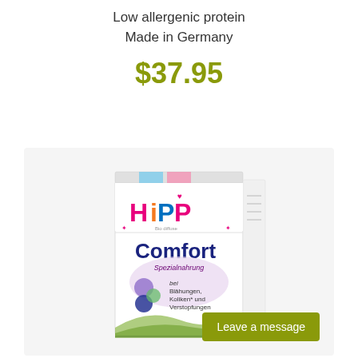Low allergenic protein
Made in Germany
$37.95
[Figure (photo): HiPP Comfort baby formula box — a white cardboard box with the colorful HiPP logo, 'Comfort' text in dark blue, and German text 'Spezialnahrung bei Blähungen, Koliken und Verstopfungen' with circular design elements and green hill imagery at the bottom.]
Leave a message